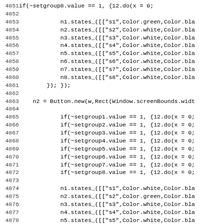[Figure (screenshot): Source code listing with line numbers from 4851 to 4882, showing SuperCollider or similar code with Button creation, state setting using n1-n8 nodes with Color values.]